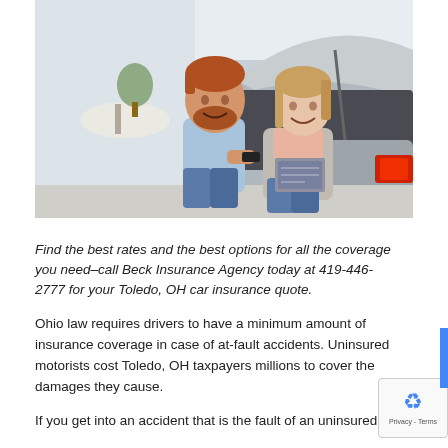[Figure (photo): A smiling couple sitting in the trunk of a silver car at a dealership. The man has a beard and is wearing a light blue shirt; the woman has long hair and is wearing a gray cardigan. They appear to be looking at a brochure or document.]
Find the best rates and the best options for all the coverage you need–call Beck Insurance Agency today at 419-446-2777 for your Toledo, OH car insurance quote.
Ohio law requires drivers to have a minimum amount of insurance coverage in case of at-fault accidents. Uninsured motorists cost Toledo, OH taxpayers millions to cover the damages they cause.
If you get into an accident that is the fault of an uninsured or